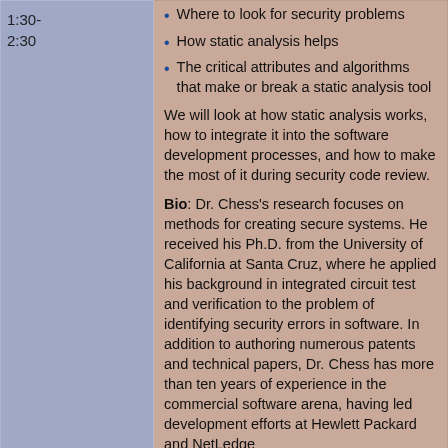1:30-2:30
Where to look for security problems
How static analysis helps
The critical attributes and algorithms that make or break a static analysis tool
We will look at how static analysis works, how to integrate it into the software development processes, and how to make the most of it during security code review.
Bio: Dr. Chess's research focuses on methods for creating secure systems. He received his Ph.D. from the University of California at Santa Cruz, where he applied his background in integrated circuit test and verification to the problem of identifying security errors in software. In addition to authoring numerous patents and technical papers, Dr. Chess has more than ten years of experience in the commercial software arena, having led development efforts at Hewlett Packard and NetLedge